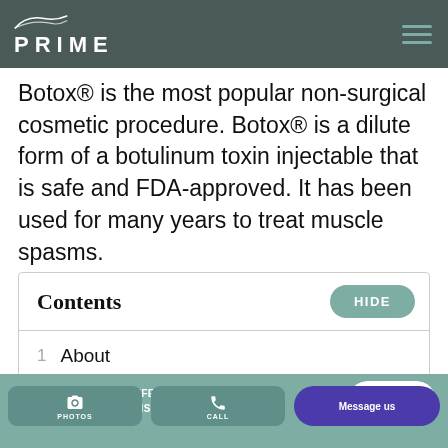PRIME
Botox® is the most popular non-surgical cosmetic procedure. Botox® is a dilute form of a botulinum toxin injectable that is safe and FDA-approved. It has been used for many years to treat muscle spasms.
Contents
1 About
WE ARE CURRENTLY OFFERING VIRTUAL AND IN-PERSON CONSULTATIONS.
CLICK TO START
[Figure (screenshot): Bottom toolbar with PHOTOS (camera icon), CALL (phone icon), and Message us (chat) buttons on teal background]
PHOTOS
CALL
Message us